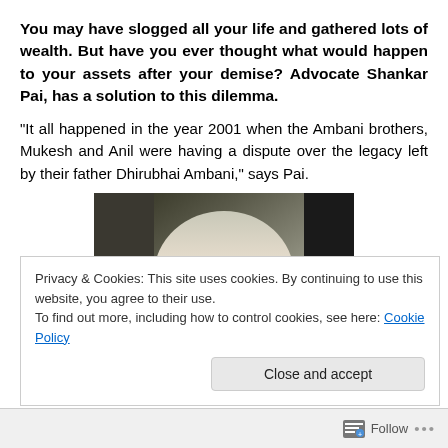You may have slogged all your life and gathered lots of wealth. But have you ever thought what would happen to your assets after your demise? Advocate Shankar Pai, has a solution to this dilemma.
“It all happened in the year 2001 when the Ambani brothers, Mukesh and Anil were having a dispute over the legacy left by their father Dhirubhai Ambani,” says Pai.
[Figure (photo): Photo of Advocate Shankar Pai, an older man with gray hair and glasses, shown from shoulders up against a light background, with a dark silhouette on the right side.]
Privacy & Cookies: This site uses cookies. By continuing to use this website, you agree to their use.
To find out more, including how to control cookies, see here: Cookie Policy
Follow